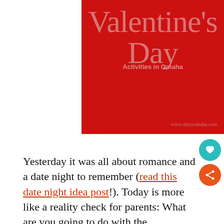[Figure (illustration): Red background promotional image for Valentine's Day Activities in Omaha, with large light pink/red text reading "Valentine's Day", subtitle "Activities in Omaha", and URL www.ohmyomaha.com at the bottom right.]
Yesterday it was all about romance and a date night to remember (read this date night idea post!). Today is more like a reality check for parents: What are you going to do with the